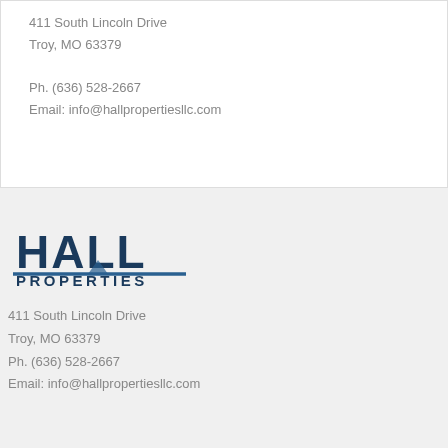411 South Lincoln Drive
Troy, MO 63379
Ph. (636) 528-2667
Email: info@hallpropertiesllc.com
[Figure (logo): Hall Properties logo with bold dark blue 'HALL' text and a horizontal line accent, 'PROPERTIES' in smaller dark blue text below]
411 South Lincoln Drive
Troy, MO 63379
Ph. (636) 528-2667
Email: info@hallpropertiesllc.com